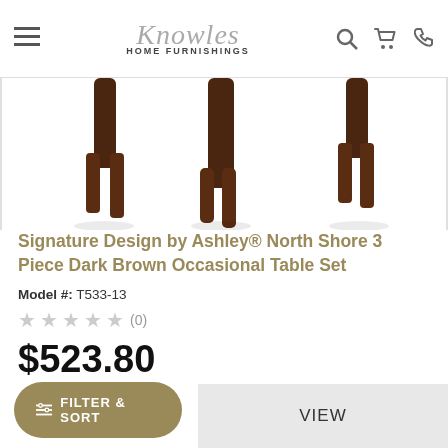Knowles Home Furnishings
[Figure (photo): Partial top-down view of dark brown wooden table legs on white background]
Signature Design by Ashley® North Shore 3 Piece Dark Brown Occasional Table Set
Model #: T533-13
★★★★★ (0)
$523.80
PRODUCTS MAY BE BACK ORDERED BY MANUFACTURER
FILTER & SORT
VIEW